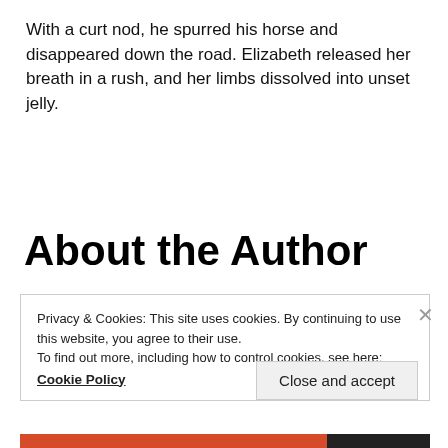With a curt nod, he spurred his horse and disappeared down the road. Elizabeth released her breath in a rush, and her limbs dissolved into unset jelly.
About the Author
Privacy & Cookies: This site uses cookies. By continuing to use this website, you agree to their use.
To find out more, including how to control cookies, see here:
Cookie Policy
Close and accept